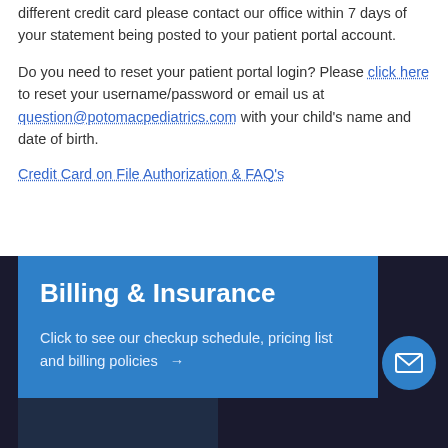different credit card please contact our office within 7 days of your statement being posted to your patient portal account.
Do you need to reset your patient portal login? Please click here to reset your username/password or email us at question@potomacpediatrics.com with your child's name and date of birth.
Credit Card on File Authorization & FAQ's
Billing & Insurance
Click to see our checkup schedule, pricing list and billing policies →